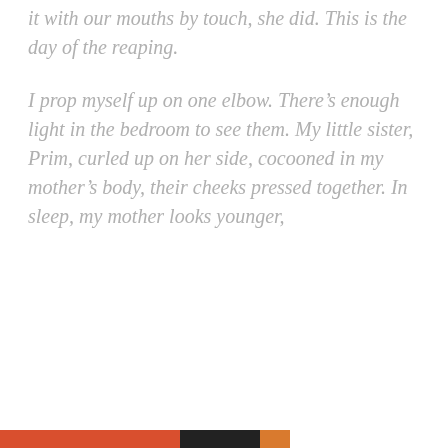it with our mouths by touch, she did. This is the day of the reaping.
I prop myself up on one elbow. There's enough light in the bedroom to see them. My little sister, Prim, curled up on her side, cocooned in my mother's body, their cheeks pressed together. In sleep, my mother looks younger,
Privacy & Cookies: This site uses cookies. By continuing to use this website, you agree to their use.
To find out more, including how to control cookies, see here: Cookie Policy